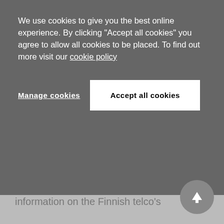We use cookies to give you the best online experience. By clicking "Accept all cookies" you agree to allow all cookies to be placed. To find out more visit our cookie policy
Manage cookies
Accept all cookies
information on the Finnish telco's settlement with Apple in 2017. After their previous licensing deal came to an end the two companies found themselves in a dispute as they struggled to finalise a new agreement, but quickly settled before the court cases got far. Settling so quickly, Varsellona stressed, had saved Nokia $200 million against the company's budget for that litigation. Even for a business that spends billions on R&D annually and